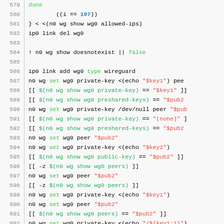[Figure (screenshot): Code listing showing shell script lines 579-606 with syntax highlighting. Line numbers in grey, keywords in green, string literals in red, variable expansions in green, numbers in blue, plain code in dark.]